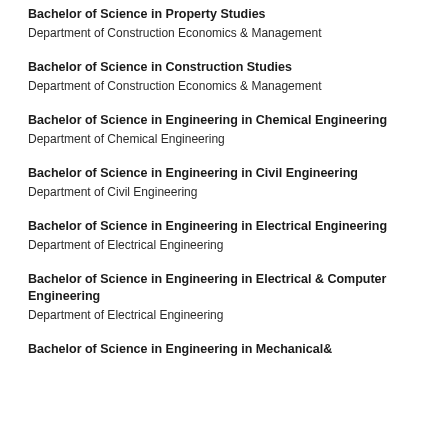Bachelor of Science in Property Studies
Department of Construction Economics & Management
Bachelor of Science in Construction Studies
Department of Construction Economics & Management
Bachelor of Science in Engineering in Chemical Engineering
Department of Chemical Engineering
Bachelor of Science in Engineering in Civil Engineering
Department of Civil Engineering
Bachelor of Science in Engineering in Electrical Engineering
Department of Electrical Engineering
Bachelor of Science in Engineering in Electrical & Computer Engineering
Department of Electrical Engineering
Bachelor of Science in Engineering in Mechanical&